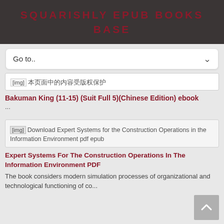SQUARISHLY EPUB BOOKS BASE
Go to..
[Figure (screenshot): Book thumbnail showing Chinese text: 本页面中的内容受版权保护]
Bakuman King (11-15) (Suit Full 5)(Chinese Edition) ebook
...
[Figure (screenshot): Book thumbnail: Download Expert Systems for the Construction Operations in the Information Environment pdf epub]
Expert Systems For The Construction Operations In The Information Environment PDF
The book considers modern simulation processes of organizational and technological functioning of co...